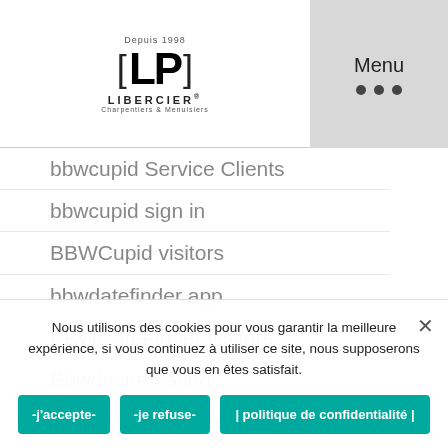[Figure (logo): Libercier LP logo with bracket design and 'Depuis 1998' text]
bbwcupid Service Clients
bbwcupid sign in
BBWCupid visitors
bbwdatefinder app
BBWDateFinder visitors
Bbwdesire dating
bbwdesire pl review
BBWDesire review
Nous utilisons des cookies pour vous garantir la meilleure expérience, si vous continuez à utiliser ce site, nous supposerons que vous en êtes satisfait.
-j'accepte-   -je refuse-   | politique de confidentialité |